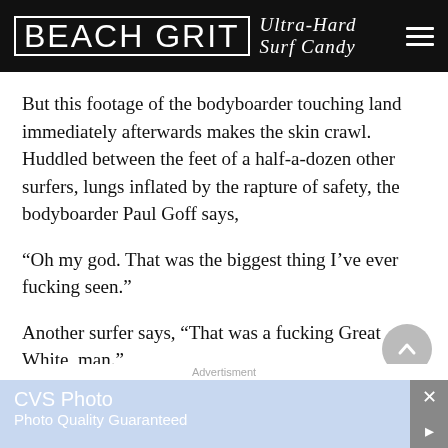BEACH GRIT Ultra-Hard Surf Candy
But this footage of the bodyboarder touching land immediately afterwards makes the skin crawl. Huddled between the feet of a half-a-dozen other surfers, lungs inflated by the rapture of safety, the bodyboarder Paul Goff says,
“Oh my god. That was the biggest thing I’ve ever fucking seen.”
Another surfer says, “That was a fucking Great White, man.”
[Figure (screenshot): CVS Photo advertisement banner at bottom of page]